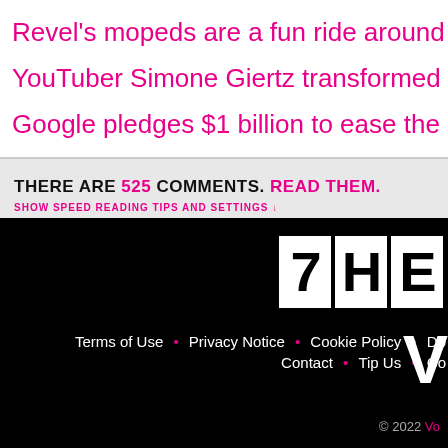Revel's mopeds are a fun ride around Brooklyn and Que…
YouTuber Simone Giertz transformed a Tesla Model 3 int…
Google pledges $1 billion to ease the Silicon Valley hous…
THERE ARE 525 COMMENTS. READ THEM.
SHOW SPEED READING TIPS AND SETTINGS ↓
[Figure (logo): Website logo block with white letters on black background, partially cropped — 'THE' visible]
Terms of Use • Privacy Notice • Cookie Policy • Do… • Contact • Tip Us • Co…
[Figure (logo): Partial white logo letter 'V' on black background]
© 2022 Vo…